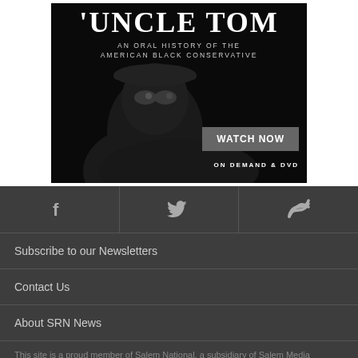[Figure (illustration): Advertisement for 'Uncle Tom: An Oral History of the American Black Conservative' documentary. Dark background with silhouette of a man wearing sunglasses and a cap. Features text 'WATCH NOW' button and 'ON DEMAND & DVD' text.]
Subscribe to our Newsletters
Contact Us
About SRN News
This site is a proud member of Salem National, a subsidiary of Salem Media